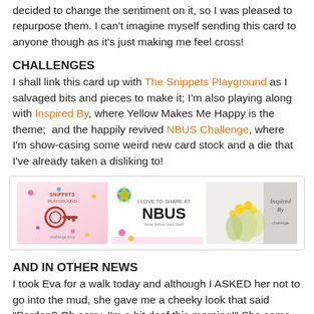decided to change the sentiment on it, so I was pleased to repurpose them. I can't imagine myself sending this card to anyone though as it's just making me feel cross!
CHALLENGES
I shall link this card up with The Snippets Playground as I salvaged bits and pieces to make it; I'm also playing along with Inspired By, where Yellow Makes Me Happy is the theme;  and the happily revived NBUS Challenge, where I'm show-casing some weird new card stock and a die that I've already taken a disliking to!
[Figure (illustration): Three challenge badge images side by side: Snippets Playground badge with keys, NBUS badge reading 'I LOVE TO SHARE AT NBUS', and Inspired By badge with flowers.]
AND IN OTHER NEWS
I took Eva for a walk today and although I ASKED her not to go into the mud, she gave me a cheeky look that said "Pardon? Oh sorry, I'm a bit deaf this morning!" She came